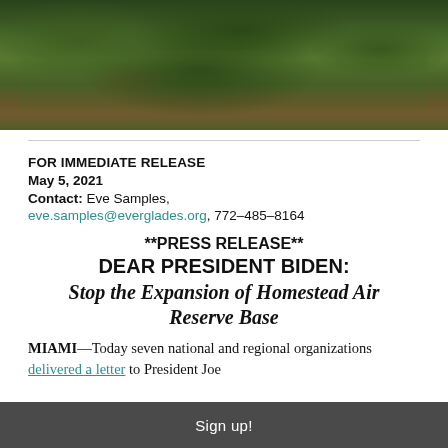[Figure (photo): Aerial/close-up photograph of trees with dark green foliage and branches, likely Everglades vegetation]
FOR IMMEDIATE RELEASE
May 5, 2021
Contact: Eve Samples,
eve.samples@everglades.org, 772-485-8164
**PRESS RELEASE**
DEAR PRESIDENT BIDEN:
Stop the Expansion of Homestead Air Reserve Base
MIAMI—Today seven national and regional organizations delivered a letter to President Joe
Sign up!